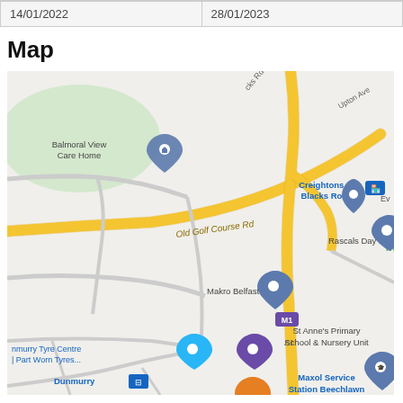| 14/01/2022 | 28/01/2023 |
Map
[Figure (map): Google Maps view showing area around Dunmurry, Belfast. Visible landmarks include Balmoral View Care Home, Old Golf Course Rd, Creightons of Blacks Road, Rascals Day Nursery, Makro Belfast, M1 motorway marker, St Anne's Primary School & Nursery Unit, nmurry Tyre Centre | Part Worn Tyres..., Dunmurry (train station), Maxol Service Station Beechlawn, Beechlawn Hotel Dunmurry. Yellow roads visible including Old Golf Course Rd and A1/M1.]